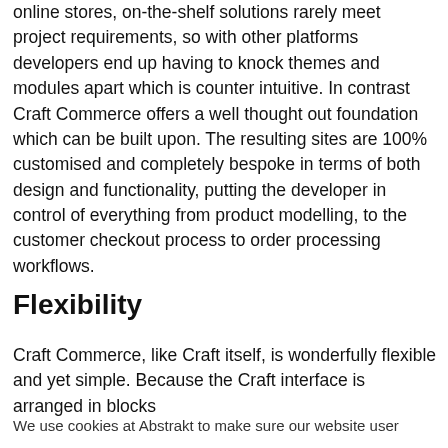online stores, on-the-shelf solutions rarely meet project requirements, so with other platforms developers end up having to knock themes and modules apart which is counter intuitive. In contrast Craft Commerce offers a well thought out foundation which can be built upon. The resulting sites are 100% customised and completely bespoke in terms of both design and functionality, putting the developer in control of everything from product modelling, to the customer checkout process to order processing workflows.
Flexibility
Craft Commerce, like Craft itself, is wonderfully flexible and yet simple. Because the Craft interface is arranged in blocks
We use cookies at Abstrakt to make sure our website user